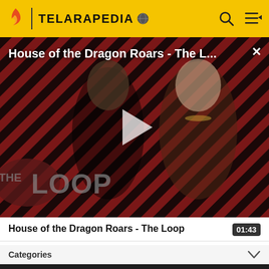TELARAPEDIA
[Figure (screenshot): Video thumbnail for 'House of the Dragon Roars - The L...' with diagonal stripe background in red/dark brown, two characters from House of the Dragon, a play button overlay, and 'THE LOOP' watermark logo at bottom left. A close (X) button is in the top right corner.]
House of the Dragon Roars - The Loop
01:43
Categories
Community content is available under CC BY-NC-SA 3.0 unless otherwise noted.